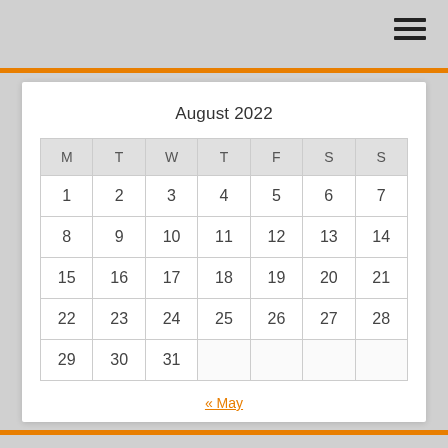[Figure (other): Hamburger menu icon (three horizontal lines) in top-right corner]
August 2022
| M | T | W | T | F | S | S |
| --- | --- | --- | --- | --- | --- | --- |
| 1 | 2 | 3 | 4 | 5 | 6 | 7 |
| 8 | 9 | 10 | 11 | 12 | 13 | 14 |
| 15 | 16 | 17 | 18 | 19 | 20 | 21 |
| 22 | 23 | 24 | 25 | 26 | 27 | 28 |
| 29 | 30 | 31 |  |  |  |  |
« May